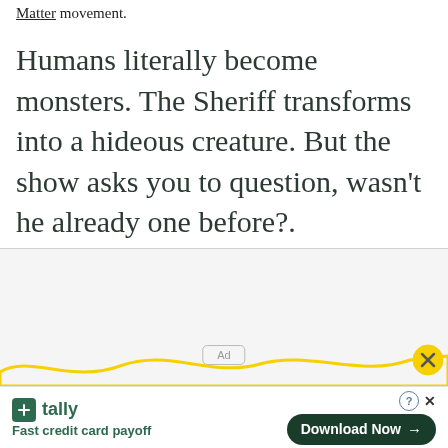Matter movement.
Humans literally become monsters. The Sheriff transforms into a hideous creature. But the show asks you to question, wasn't he already one before?.
[Figure (other): Advertisement placeholder area with 'Ad' label, yellow wave graphic, close button, and Tally app download bar at bottom]